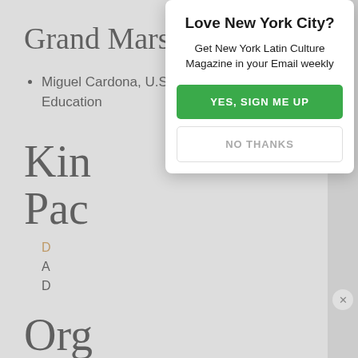Grand Marshal
Miguel Cardona, U.S. Secretary of Education
Kin… Pac…
(partial bullet items, obscured by modal)
Org…
[Figure (screenshot): Modal popup overlay with title 'Love New York City?', subtitle 'Get New York Latin Culture Magazine in your Email weekly', a green 'YES, SIGN ME UP' button, and a 'NO THANKS' button with a close X button in top right corner.]